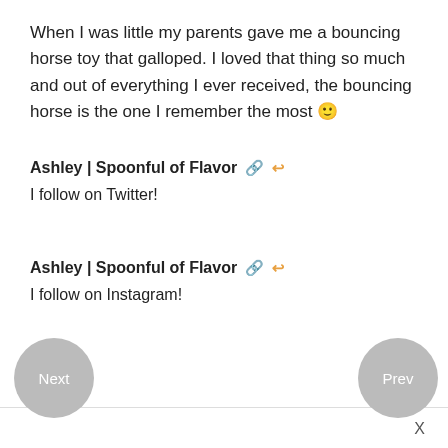When I was little my parents gave me a bouncing horse toy that galloped. I loved that thing so much and out of everything I ever received, the bouncing horse is the one I remember the most 🙂
Ashley | Spoonful of Flavor 🔗 ↩
I follow on Twitter!
Ashley | Spoonful of Flavor 🔗 ↩
I follow on Instagram!